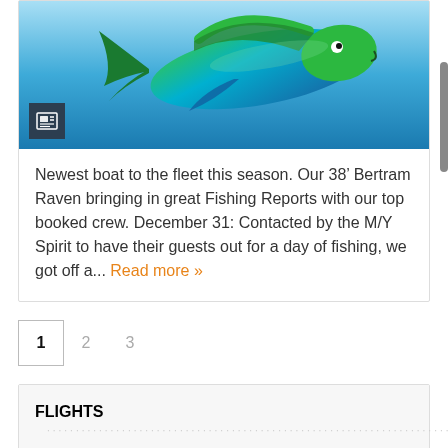[Figure (photo): A colorful fish (mahi-mahi/dorado) underwater against a blue background, with a small dark news/article icon overlay in the bottom-left corner of the image.]
Newest boat to the fleet this season. Our 38' Bertram Raven bringing in great Fishing Reports with our top booked crew. December 31: Contacted by the M/Y Spirit to have their guests out for a day of fishing, we got off a... Read more »
1  2  3
FLIGHTS